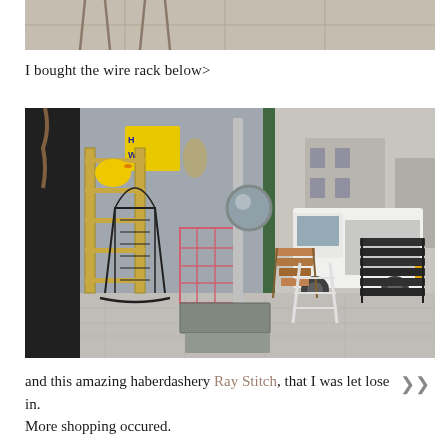[Figure (photo): Top portion of an outdoor photo showing what appears to be a sidewalk or pavement with some chairs or furniture visible, cropped at the bottom of the frame.]
I bought the wire rack below>
[Figure (photo): Exterior of a shop with vintage and antique items displayed outside on the pavement. Items include a black wire rocking chair, a brass/gold shelving unit, a pink wire rack, stacked chairs, and a step ladder. A white van is visible in the background on the street.]
and this amazing haberdashery Ray Stitch, that I was let lose in. More shopping occured.